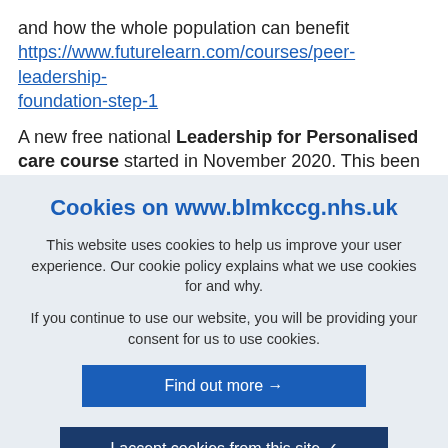and how the whole population can benefit https://www.futurelearn.com/courses/peer-leadership-foundation-step-1
A new free national Leadership for Personalised care course started in November 2020. This been set up by NHS Leadership Academy with the Personalised Care
Cookies on www.blmkccg.nhs.uk
This website uses cookies to help us improve your user experience. Our cookie policy explains what we use cookies for and why.
If you continue to use our website, you will be providing your consent for us to use cookies.
Find out more →
I accept cookies from this site ✓